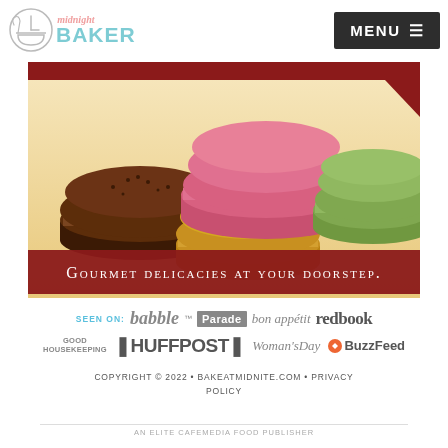The Midnight Baker | MENU
[Figure (photo): Advertisement banner showing colorful French macarons (chocolate, pink, yellow, green) with text 'GOURMET DELICACIES AT YOUR DOORSTEP.' on a dark red banner at the bottom]
SEEN ON: babble Parade bon appétit redbook GOOD HOUSEKEEPING ❚HUFFPOST❚ Woman's Day BuzzFeed
COPYRIGHT © 2022 • BAKEATMIDNITE.COM • PRIVACY POLICY
AN ELITE CAFEMEDIA FOOD PUBLISHER